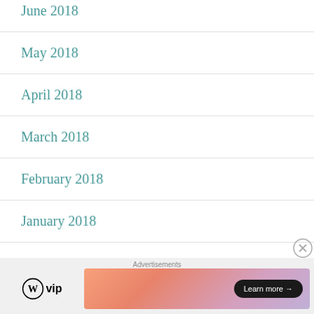June 2018
May 2018
April 2018
March 2018
February 2018
January 2018
December 2017
November 2017
October 2017
[Figure (other): WordPress VIP advertisement banner with logo and 'Learn more' button on gradient background]
Advertisements